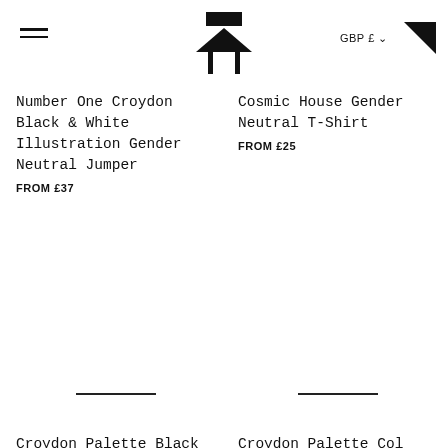Navigation header with hamburger menu, logo, GBP £ currency selector, and cart icon
[Figure (logo): Stylized house/architecture logo: black rectangle at top, black triangle below it, two vertical lines forming doorway]
Number One Croydon Black & White Illustration Gender Neutral Jumper
FROM £37
Cosmic House Gender Neutral T-Shirt
FROM £25
[Figure (other): Product image placeholder with horizontal line indicator, left product]
[Figure (other): Product image placeholder with horizontal line indicator, right product]
Croydon Palette Black &
Croydon Palette Col